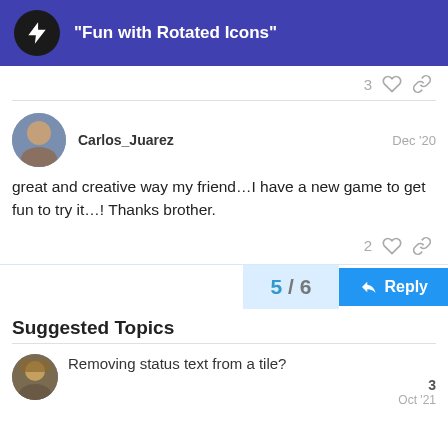“Fun with Rotated Icons”
3 likes, link
Carlos_Juarez  Dec ’20
great and creative way my friend…I have a new game to get fun to try it…! Thanks brother.
2 likes, link
5 / 6
Reply
Suggested Topics
Removing status text from a tile?  3  Oct ’21